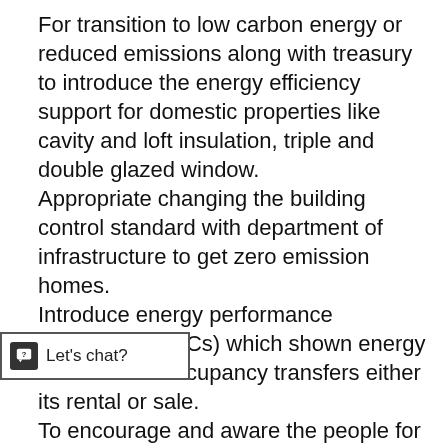For transition to low carbon energy or reduced emissions along with treasury to introduce the energy efficiency support for domestic properties like cavity and loft insulation, triple and double glazed window. Appropriate changing the building control standard with department of infrastructure to get zero emission homes. Introduce energy performance certificates (EPCs) which shown energy certificate of occupancy transfers either its rental or sale. To encourage and aware the people for the installation of smart electricity and upgraded [obscured] in new installation and existing [obscured] retrofitting. To introduce a policy scheme to encourage heating system.